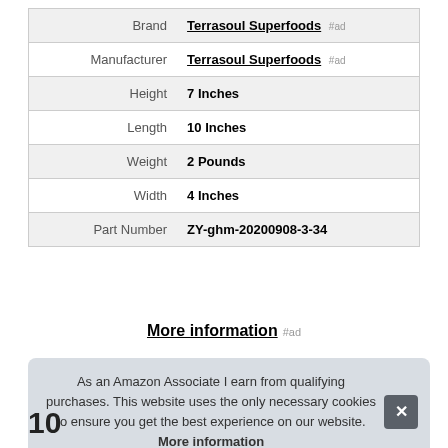| Attribute | Value |
| --- | --- |
| Brand | Terrasoul Superfoods #ad |
| Manufacturer | Terrasoul Superfoods #ad |
| Height | 7 Inches |
| Length | 10 Inches |
| Weight | 2 Pounds |
| Width | 4 Inches |
| Part Number | ZY-ghm-20200908-3-34 |
More information #ad
As an Amazon Associate I earn from qualifying purchases. This website uses the only necessary cookies to ensure you get the best experience on our website. More information